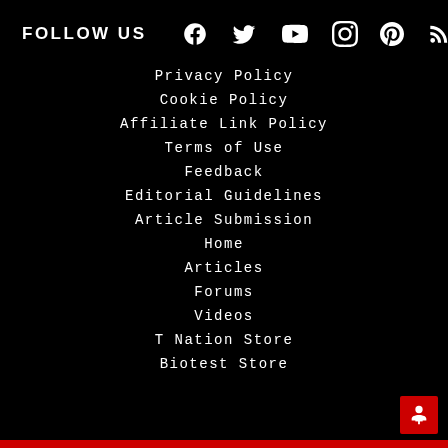FOLLOW US
Privacy Policy
Cookie Policy
Affiliate Link Policy
Terms of Use
Feedback
Editorial Guidelines
Article Submission
Home
Articles
Forums
Videos
T Nation Store
Biotest Store